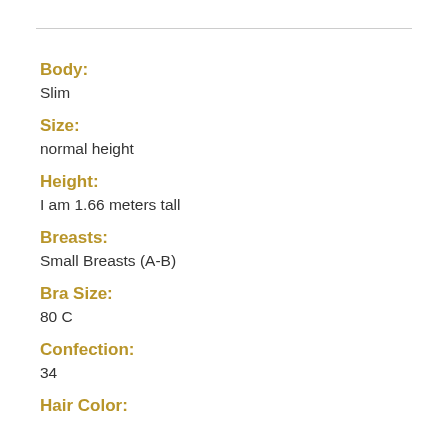Body:
Slim
Size:
normal height
Height:
I am 1.66 meters tall
Breasts:
Small Breasts (A-B)
Bra Size:
80 C
Confection:
34
Hair Color: